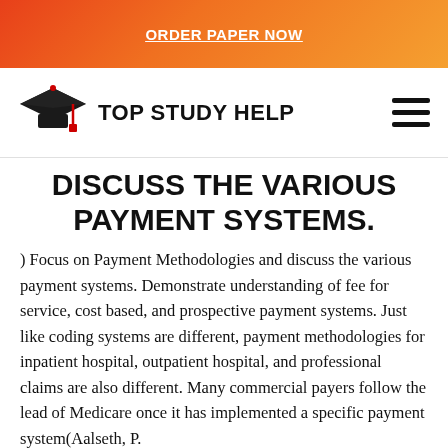ORDER PAPER NOW
[Figure (logo): Top Study Help logo with graduation cap icon and text 'TOP STUDY HELP']
DISCUSS THE VARIOUS PAYMENT SYSTEMS.
) Focus on Payment Methodologies and discuss the various payment systems. Demonstrate understanding of fee for service, cost based, and prospective payment systems. Just like coding systems are different, payment methodologies for inpatient hospital, outpatient hospital, and professional claims are also different. Many commercial payers follow the lead of Medicare once it has implemented a specific payment system(Aalseth, P.